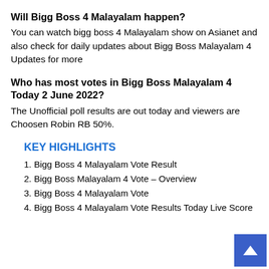Will Bigg Boss 4 Malayalam happen?
You can watch bigg boss 4 Malayalam show on Asianet and also check for daily updates about Bigg Boss Malayalam 4 Updates for more
Who has most votes in Bigg Boss Malayalam 4 Today 2 June 2022?
The Unofficial poll results are out today and viewers are Choosen Robin RB 50%.
KEY HIGHLIGHTS
1. Bigg Boss 4 Malayalam Vote Result
2. Bigg Boss Malayalam 4 Vote – Overview
3. Bigg Boss 4 Malayalam Vote
4. Bigg Boss 4 Malayalam Vote Results Today Live Score